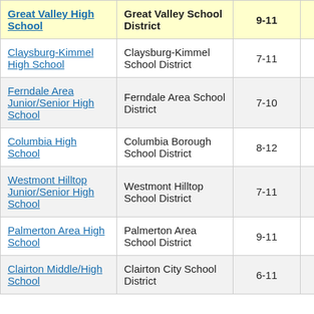| School | District | Grades | Score |  |
| --- | --- | --- | --- | --- |
| Great Valley High School | Great Valley School District | 9-11 | 5.9 | 2 |
| Claysburg-Kimmel High School | Claysburg-Kimmel School District | 7-11 | -0.7 |  |
| Ferndale Area Junior/Senior High School | Ferndale Area School District | 7-10 | -0.7 |  |
| Columbia High School | Columbia Borough School District | 8-12 | -0.6 |  |
| Westmont Hilltop Junior/Senior High School | Westmont Hilltop School District | 7-11 | -0.6 |  |
| Palmerton Area High School | Palmerton Area School District | 9-11 | -0.5 |  |
| Clairton Middle/High School | Clairton City School District | 6-11 | -1.1 |  |